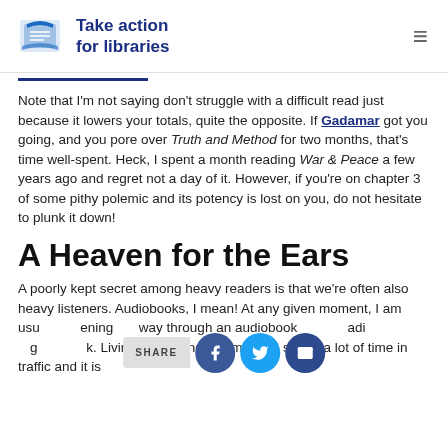Take action for libraries
Note that I'm not saying don't struggle with a difficult read just because it lowers your totals, quite the opposite. If Gadamar got you going, and you pore over Truth and Method for two months, that's time well-spent. Heck, I spent a month reading War & Peace a few years ago and regret not a day of it. However, if you're on chapter 3 of some pithy polemic and its potency is lost on you, do not hesitate to plunk it down!
A Heaven for the Ears
A poorly kept secret among heavy readers is that we're often also heavy listeners. Audiobooks, I mean! At any given moment, I am usually listening my way through an audiobook while reading a regular book. Living in Los Angeles means I spend a lot of time in traffic and it is